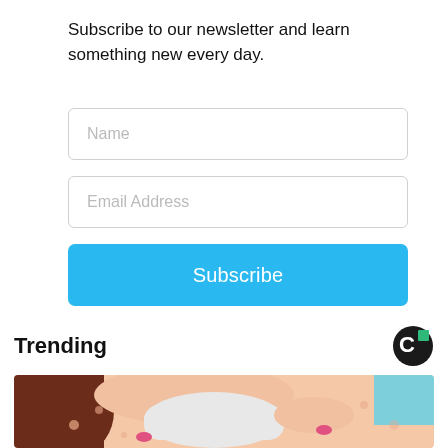Subscribe to our newsletter and learn something new every day.
Name
Email Address
Subscribe
Trending
[Figure (illustration): Cartoon/illustration of a person lying down receiving a facial or skincare treatment, with hands applying something to their face. Pink nails visible.]